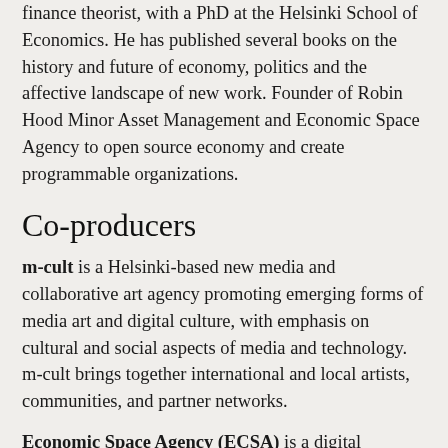finance theorist, with a PhD at the Helsinki School of Economics. He has published several books on the history and future of economy, politics and the affective landscape of new work. Founder of Robin Hood Minor Asset Management and Economic Space Agency to open source economy and create programmable organizations.
Co-producers
m-cult is a Helsinki-based new media and collaborative art agency promoting emerging forms of media art and digital culture, with emphasis on cultural and social aspects of media and technology. m-cult brings together international and local artists, communities, and partner networks.
Economic Space Agency (ECSA) is a digital economy organization and an international network of radical economists, developers, and artists. ECSA works on a